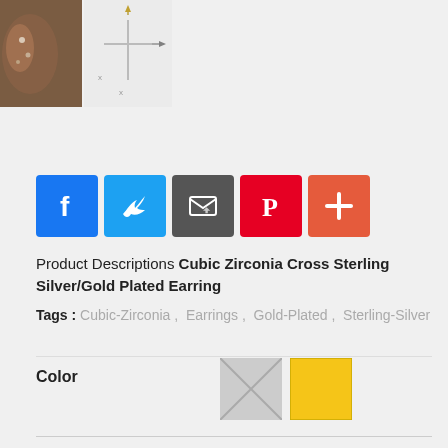[Figure (photo): Product thumbnail images: ear with earring and a line diagram of earring dimensions]
[Figure (infographic): Social share buttons: Facebook, Twitter, Email, Pinterest, and a plus/more button]
Product Descriptions Cubic Zirconia Cross Sterling Silver/Gold Plated Earring
Tags : Cubic-Zirconia, Earrings, Gold-Plated, Sterling-Silver
Color
[Figure (illustration): Two color swatches: a gray crossed-out swatch and a yellow/gold swatch]
Quantity
[Figure (other): Quantity selector control with left arrow, value 1, right arrow]